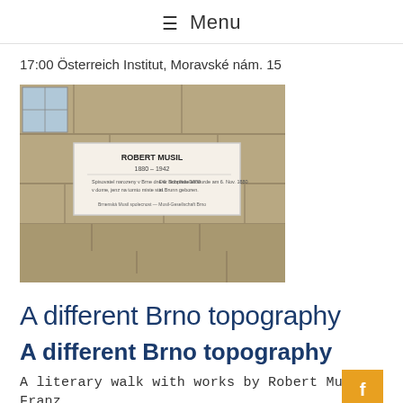≡ Menu
17:00 Österreich Institut, Moravské nám. 15
[Figure (photo): A stone building facade with a commemorative plaque reading 'ROBERT MUSIL 1880-1942' with additional text below]
A different Brno topography
A different Brno topography
A literary walk with works by Robert Musil, Franz